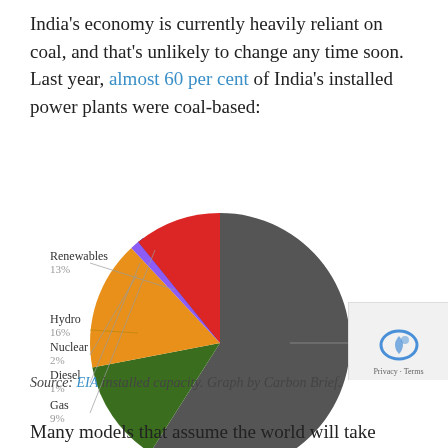India's economy is currently heavily reliant on coal, and that's unlikely to change any time soon. Last year, almost 60 per cent of India's installed power plants were coal-based:
[Figure (pie-chart): India installed power capacity]
Source: EIA installed capacity. Graph by Carbon Brief.
Many models that assume the world will take some